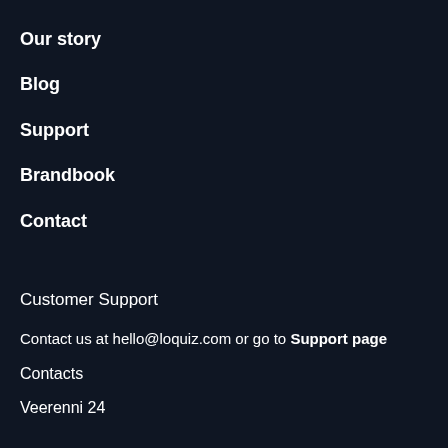Our story
Blog
Support
Brandbook
Contact
Customer Support
Contact us at hello@loquiz.com or go to Support page
Contacts
Veerenni 24